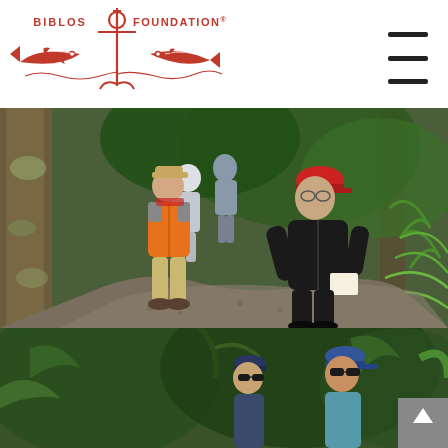[Figure (logo): Biblos Foundation logo: red anchor with cross, flanked by two fish, text 'BIBLOS FOUNDATION' with registered trademark symbol]
[Figure (photo): Group of hikers walking on a forest trail surrounded by lush green ferns and trees; man in orange jacket in foreground, man in black jacket and red cap in right foreground]
[Figure (photo): Two hikers in baseball caps among dense green forest foliage, partially cropped at bottom of page]